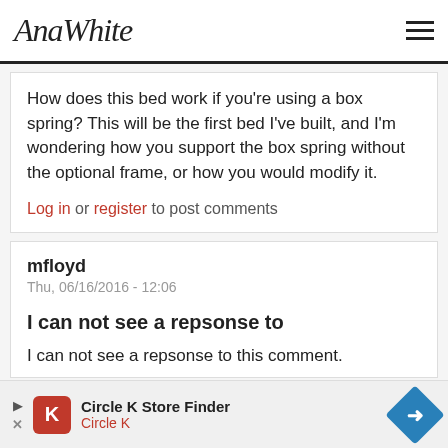AnaWhite
How does this bed work if you're using a box spring? This will be the first bed I've built, and I'm wondering how you support the box spring without the optional frame, or how you would modify it.
Log in or register to post comments
mfloyd
Thu, 06/16/2016 - 12:06
I can not see a repsonse to
I can not see a repsonse to this comment.
Circle K Store Finder
Circle K